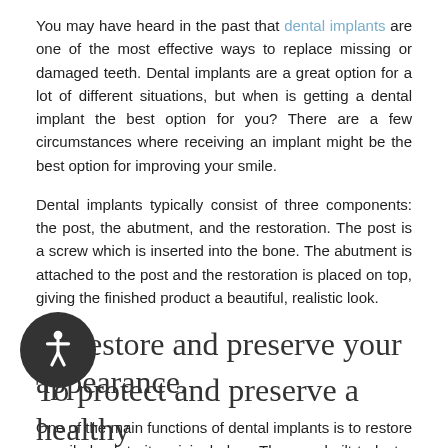You may have heard in the past that dental implants are one of the most effective ways to replace missing or damaged teeth. Dental implants are a great option for a lot of different situations, but when is getting a dental implant the best option for you? There are a few circumstances where receiving an implant might be the best option for improving your smile.
Dental implants typically consist of three components: the post, the abutment, and the restoration. The post is a screw which is inserted into the bone. The abutment is attached to the post and the restoration is placed on top, giving the finished product a beautiful, realistic look.
To restore and preserve your appearance.
One of the main functions of dental implants is to restore a smile back to its original glory. They are built to last a lifetime and last much longer than dental bridges. If you are looking for a permanent solution to damaged or missing teeth, dental implants are your best option.
To protect and preserve a healthy